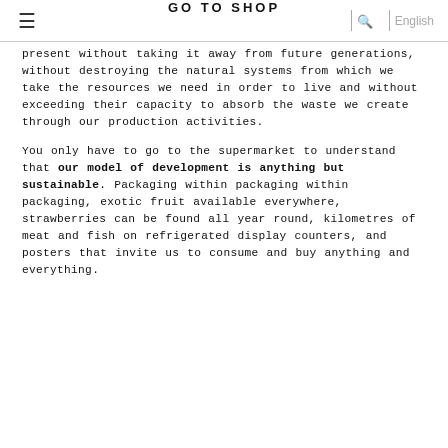≡   GO TO SHOP   🔍   English
present without taking it away from future generations, without destroying the natural systems from which we take the resources we need in order to live and without exceeding their capacity to absorb the waste we create through our production activities.
You only have to go to the supermarket to understand that our model of development is anything but sustainable. Packaging within packaging within packaging, exotic fruit available everywhere, strawberries can be found all year round, kilometres of meat and fish on refrigerated display counters, and posters that invite us to consume and buy anything and everything.